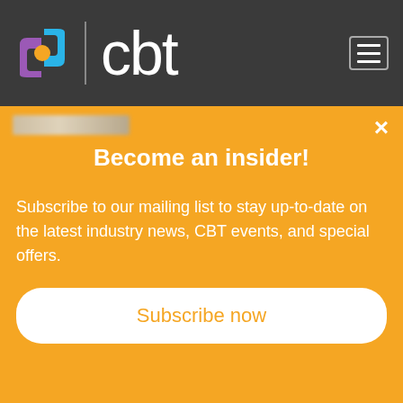[Figure (logo): CBT logo with colorful square icon and 'cbt' text, plus hamburger menu button on dark grey header bar]
For the last few years, CBT has been implementing award-winning solutions at scale in the Industrial IoT environment, including the industry-renowned Refinery of the Future project at Texmark Chemicals
Become an insider!
Subscribe to our mailing list to stay up-to-date on the latest industry news, CBT events, and special offers.
Subscribe now